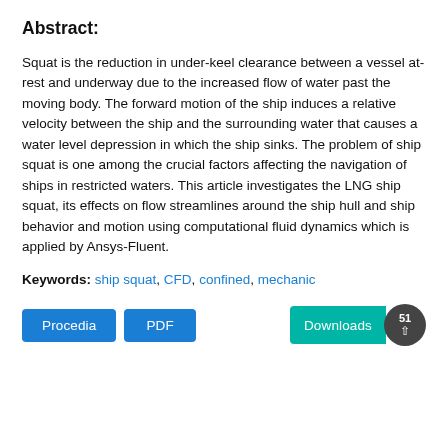Abstract:
Squat is the reduction in under-keel clearance between a vessel at-rest and underway due to the increased flow of water past the moving body. The forward motion of the ship induces a relative velocity between the ship and the surrounding water that causes a water level depression in which the ship sinks. The problem of ship squat is one among the crucial factors affecting the navigation of ships in restricted waters. This article investigates the LNG ship squat, its effects on flow streamlines around the ship hull and ship behavior and motion using computational fluid dynamics which is applied by Ansys-Fluent.
Keywords: ship squat, CFD, confined, mechanic